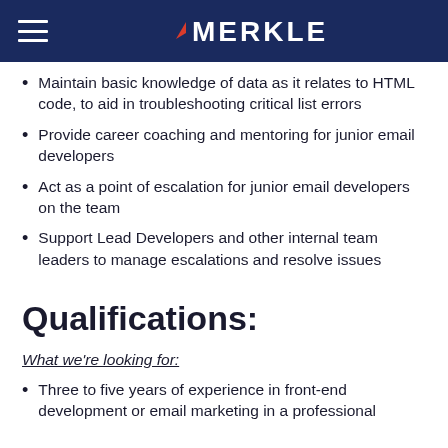MERKLE
Maintain basic knowledge of data as it relates to HTML code, to aid in troubleshooting critical list errors
Provide career coaching and mentoring for junior email developers
Act as a point of escalation for junior email developers on the team
Support Lead Developers and other internal team leaders to manage escalations and resolve issues
Qualifications:
What we're looking for:
Three to five years of experience in front-end development or email marketing in a professional